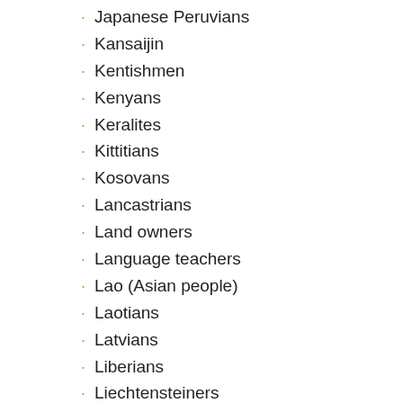Japanese Peruvians
Kansaijin
Kentishmen
Kenyans
Keralites
Kittitians
Kosovans
Lancastrians
Land owners
Language teachers
Lao (Asian people)
Laotians
Latvians
Liberians
Liechtensteiners
Lithuanians
Lung cancer patients